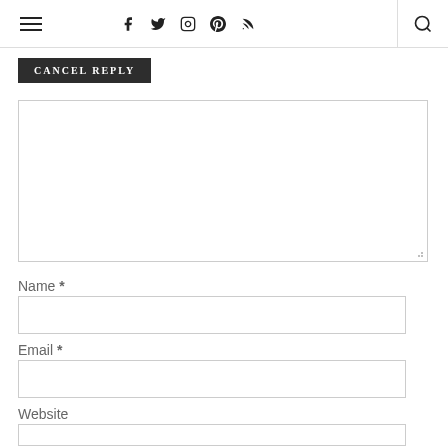Navigation header with hamburger menu, social icons (Facebook, Twitter, Instagram, Pinterest, RSS), and search icon
CANCEL REPLY
[Figure (other): Large empty comment textarea input field with resize handle at bottom right]
Name *
[Figure (other): Name text input field]
Email *
[Figure (other): Email text input field]
Website
[Figure (other): Website text input field]